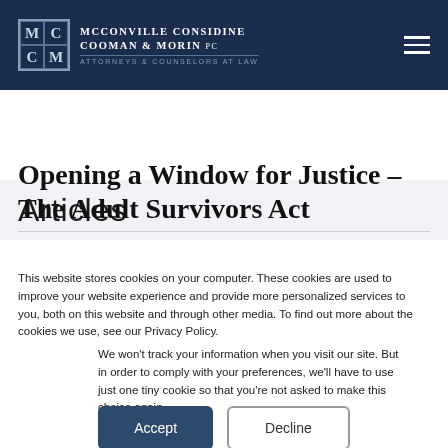McConville Considine Cooman & Morin PC — Attorneys & Counselors at Law
Articles
Opening a Window for Justice – The Adult Survivors Act
This website stores cookies on your computer. These cookies are used to improve your website experience and provide more personalized services to you, both on this website and through other media. To find out more about the cookies we use, see our Privacy Policy.
We won't track your information when you visit our site. But in order to comply with your preferences, we'll have to use just one tiny cookie so that you're not asked to make this choice again.